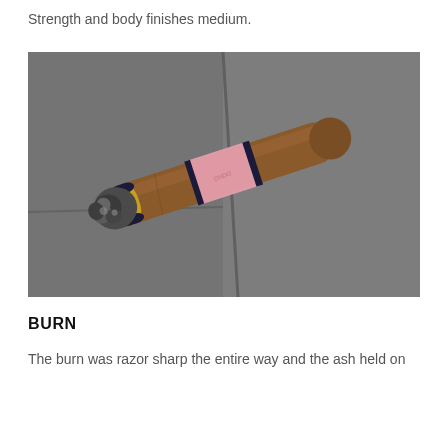Strength and body finishes medium.
[Figure (photo): A partially smoked cigar with ash at the burned end, resting on a stone surface. The cigar has a pink band with decorative lettering and a gold/black band near the cap end.]
BURN
The burn was razor sharp the entire way and the ash held on